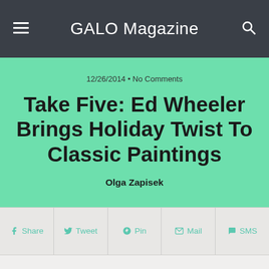GALO Magazine
12/26/2014 • No Comments
Take Five: Ed Wheeler Brings Holiday Twist To Classic Paintings
Olga Zapisek
Share  Tweet  Pin  Mail  SMS